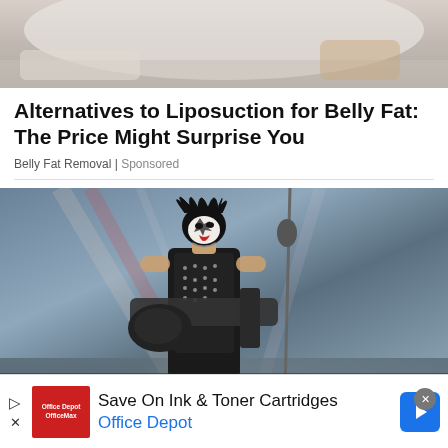[Figure (photo): Top partial photo of what appears to be a medical or spa setting, showing draped fabric]
Alternatives to Liposuction for Belly Fat: The Price Might Surprise You
Belly Fat Removal | Sponsored
[Figure (photo): A KISS band member (Paul Stanley) performing on stage in full makeup and costume with guitar and microphone stand]
Save On Ink & Toner Cartridges
Office Depot